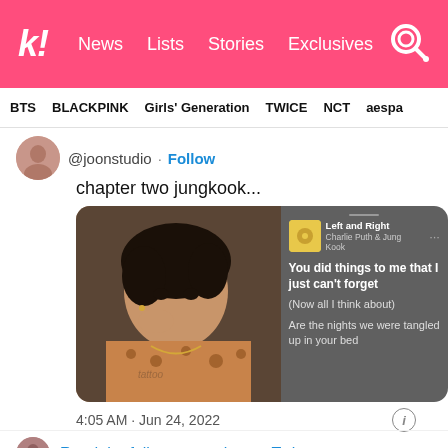Koreaboo | News  Lists  Stories  Exclusives
BTS  BLACKPINK  Girls' Generation  TWICE  NCT  aespa
@joonstudio · Follow
chapter two jungkook...
[Figure (screenshot): A photo of Jungkook in a leopard print jacket alongside a music player screenshot showing 'Left and Right' by Charlie Puth & Jung Kook, with lyrics: 'You did things to me that I just can't forget (Now all I think about) Are the nights we were tangled up in your bed']
4:05 AM · Jun 24, 2022
Read the full conversation on Twitter